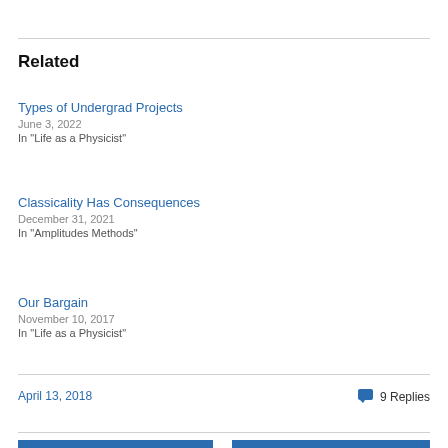Related
Types of Undergrad Projects
June 3, 2022
In "Life as a Physicist"
Classicality Has Consequences
December 31, 2021
In "Amplitudes Methods"
Our Bargain
November 10, 2017
In "Life as a Physicist"
April 13, 2018
9 Replies